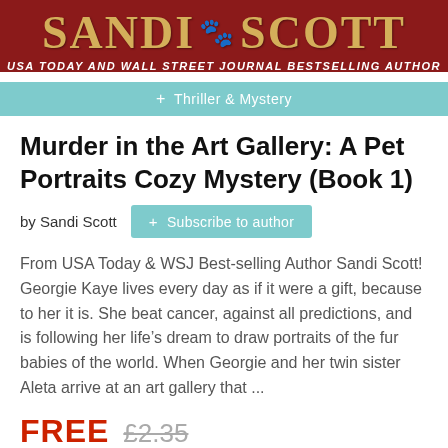[Figure (logo): Sandi Scott author banner with dark red background, gold serif text 'SANDI SCOTT', white italic text 'USA TODAY AND WALL STREET JOURNAL BESTSELLING AUTHOR', and teal bar with '+ Thriller & Mystery']
Murder in the Art Gallery: A Pet Portraits Cozy Mystery (Book 1)
by Sandi Scott
+ Subscribe to author
From USA Today & WSJ Best-selling Author Sandi Scott! Georgie Kaye lives every day as if it were a gift, because to her it is. She beat cancer, against all predictions, and is following her life's dream to draw portraits of the fur babies of the world. When Georgie and her twin sister Aleta arrive at an art gallery that ...
FREE £2.35